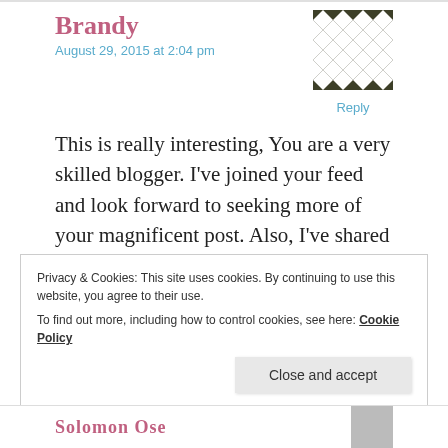Brandy
August 29, 2015 at 2:04 pm
[Figure (illustration): Geometric quilt-pattern avatar in dark olive green and white, with diamonds and squares pattern]
Reply
This is really interesting, You are a very skilled blogger. I've joined your feed and look forward to seeking more of your magnificent post. Also, I've shared your site in my social networks!
Privacy & Cookies: This site uses cookies. By continuing to use this website, you agree to their use.
To find out more, including how to control cookies, see here: Cookie Policy
Close and accept